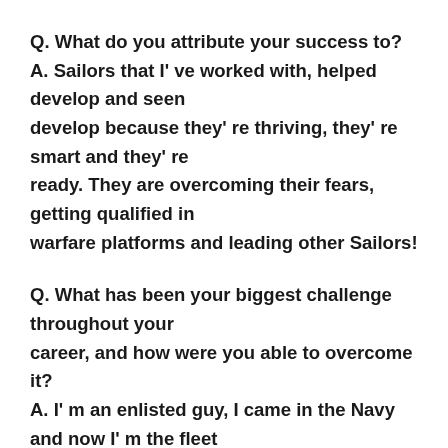Q. What do you attribute your success to?
A. Sailors that I've worked with, helped develop and seen develop because they're thriving, they're smart and they're ready. They are overcoming their fears, getting qualified in warfare platforms and leading other Sailors!
Q. What has been your biggest challenge throughout your career, and how were you able to overcome it?
A. I'm an enlisted guy, I came in the Navy and now I'm the fleet master chief of the pacific fleet. I sit at a lot of tables amongst other people who don't believe that I belong there, that's a challenge for me. The secret is not to get emotional, but to